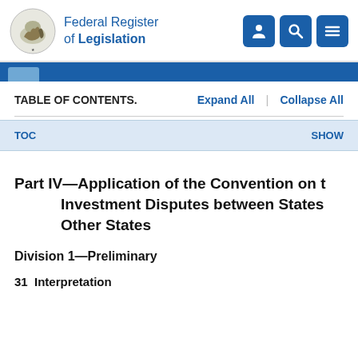Federal Register of Legislation
TABLE OF CONTENTS.   Expand All  |  Collapse All
TOC   SHOW
Part IV—Application of the Convention on the Settlement of Investment Disputes between States and Nationals of Other States
Division 1—Preliminary
31  Interpretation